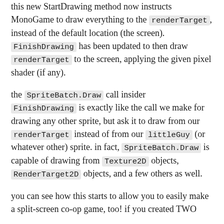this new StartDrawing method now instructs MonoGame to draw everything to the renderTarget, instead of the default location (the screen). FinishDrawing has been updated to then draw renderTarget to the screen, applying the given pixel shader (if any).
the SpriteBatch.Draw call insider FinishDrawing is exactly like the call we make for drawing any other sprite, but ask it to draw from our renderTarget instead of from our littleGuy (or whatever other) sprite. in fact, SpriteBatch.Draw is capable of drawing from Texture2D objects, RenderTarget2D objects, and a few others as well.
you can see how this starts to allow you to easily make a split-screen co-op game, too! if you created TWO